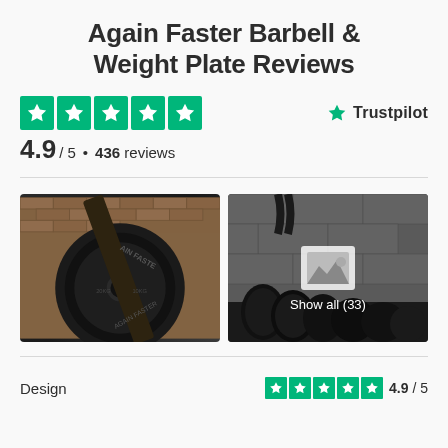Again Faster Barbell & Weight Plate Reviews
[Figure (infographic): Trustpilot 5-star rating display showing 4.9/5 from 436 reviews with Trustpilot logo and star icons]
4.9 / 5 • 436 reviews
[Figure (photo): Two product photos side by side: left shows a close-up of an Again Faster weight plate on a barbell against a brick wall; right shows multiple weight plates stacked in a gym with 'Show all (33)' overlay]
Design 4.9 / 5